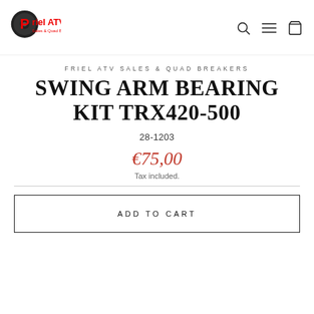Friel ATV Sales & Quad Breakers — logo and navigation
FRIEL ATV SALES & QUAD BREAKERS
SWING ARM BEARING KIT TRX420-500
28-1203
€75,00
Tax included.
ADD TO CART